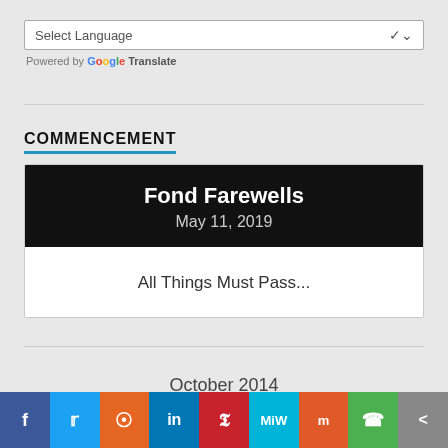[Figure (screenshot): Select Language dropdown with Google Translate branding]
COMMENCEMENT
[Figure (infographic): Card with title 'Fond Farewells', date 'May 11, 2019', and subtitle 'All Things Must Pass...']
October 2014
[Figure (infographic): Social sharing bar with icons: Facebook, Twitter, Reddit, LinkedIn, Pinterest, MeWe, Mix, WhatsApp, Share]